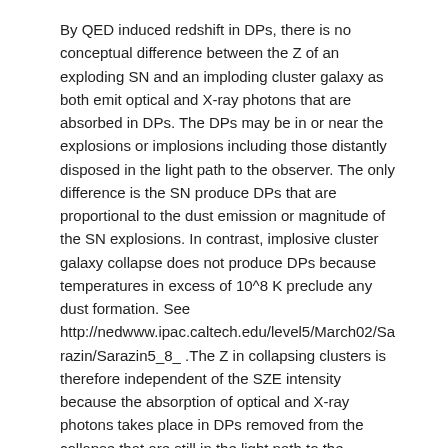By QED induced redshift in DPs, there is no conceptual difference between the Z of an exploding SN and an imploding cluster galaxy as both emit optical and X-ray photons that are absorbed in DPs. The DPs may be in or near the explosions or implosions including those distantly disposed in the light path to the observer. The only difference is the SN produce DPs that are proportional to the dust emission or magnitude of the SN explosions. In contrast, implosive cluster galaxy collapse does not produce DPs because temperatures in excess of 10^8 K preclude any dust formation. See http://nedwww.ipac.caltech.edu/level5/March02/Sarazin/Sarazin5_8_ .The Z in collapsing clusters is therefore independent of the SZE intensity because the absorption of optical and X-ray photons takes place in DPs removed from the collapse that are still in the light path to the observer. See www.prlog.org/10402850-cosmic-microwave-background-radiation-cmbr-from-collapsing-galaxies-instead-of-the-big-bang.html
Conclusions